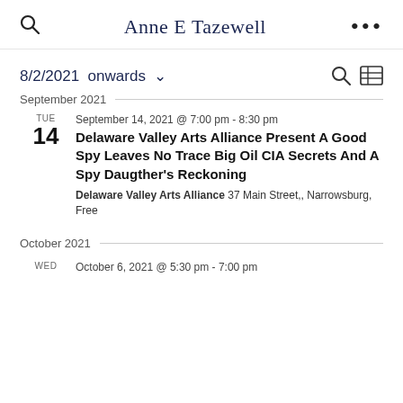Anne E Tazewell
8/2/2021 onwards ˅
September 2021
TUE 14 | September 14, 2021 @ 7:00 pm - 8:30 pm | Delaware Valley Arts Alliance Present A Good Spy Leaves No Trace Big Oil CIA Secrets And A Spy Daugther's Reckoning | Delaware Valley Arts Alliance 37 Main Street,, Narrowsburg, | Free
October 2021
WED | October 6, 2021 @ 5:30 pm - 7:00 pm